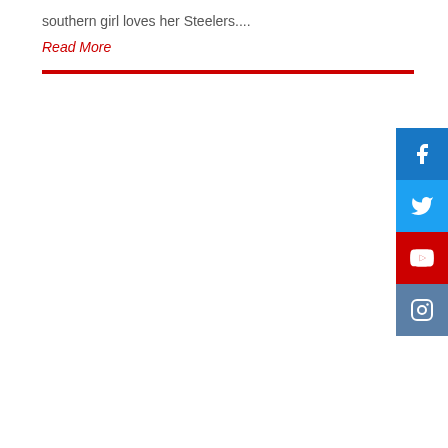southern girl loves her Steelers....
Read More
[Figure (infographic): Red horizontal divider line]
[Figure (infographic): Social media sidebar with Facebook, Twitter, YouTube, and Instagram icons]